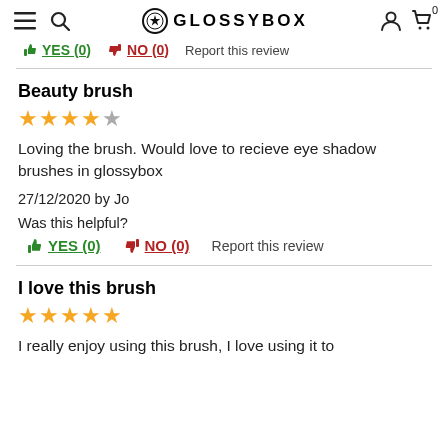GLOSSYBOX
YES (0)  NO (0)  Report this review
Beauty brush
★★★★☆
Loving the brush. Would love to recieve eye shadow brushes in glossybox
27/12/2020 by Jo
Was this helpful?
YES (0)  NO (0)  Report this review
I love this brush
★★★★★
I really enjoy using this brush, I love using it to